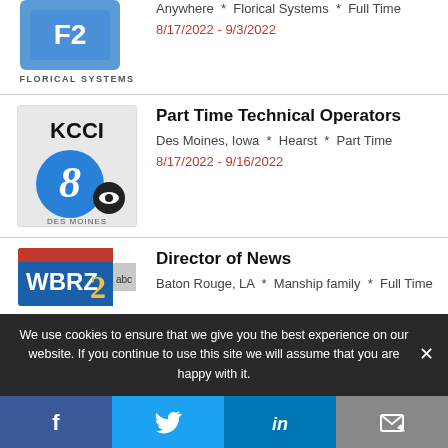[Figure (logo): Florical Systems logo - blue square with F2 icon, text FLORICAL SYSTEMS below]
Anywhere * Florical Systems * Full Time
8/17/2022 - 9/3/2022
[Figure (logo): KCCI 8 Des Moines logo - black KCCI text, blue 8 with CBS eye]
Part Time Technical Operators
Des Moines, Iowa * Hearst * Part Time
8/17/2022 - 9/16/2022
[Figure (logo): WBRZ 2 abc logo - blue background with WBRZ 2 and abc]
Director of News
Baton Rouge, LA * Manship family * Full Time
We use cookies to ensure that we give you the best experience on our website. If you continue to use this site we will assume that you are happy with it.
[Figure (infographic): Social share bar with Facebook, Twitter, LinkedIn, and Email icons]